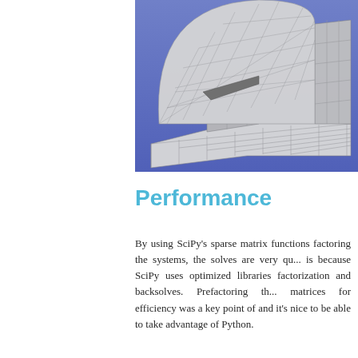[Figure (illustration): 3D mesh rendering of a mechanical part (appears to be a bracket or structural component) with triangular and quadrilateral surface mesh, shown against a blue-purple gradient background.]
Performance
By using SciPy's sparse matrix functions factoring the systems, the solves are very qu... is because SciPy uses optimized libraries factorization and backsolves. Prefactoring th... matrices for efficiency was a key point of and it's nice to be able to take advantage of Python.